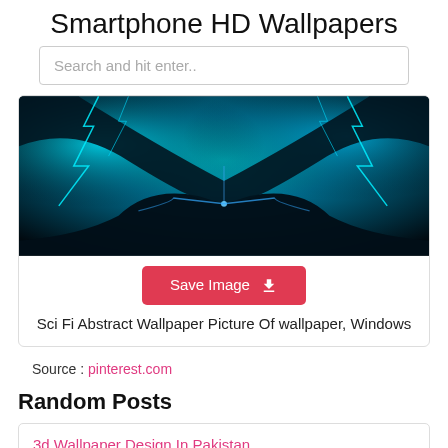Smartphone HD Wallpapers
Search and hit enter..
[Figure (photo): Sci-fi abstract wallpaper with blue/cyan lightning and dark mechanical shapes on black background]
Save Image
Sci Fi Abstract Wallpaper Picture Of wallpaper, Windows
Source : pinterest.com
Random Posts
3d Wallpaper Design In Pakistan